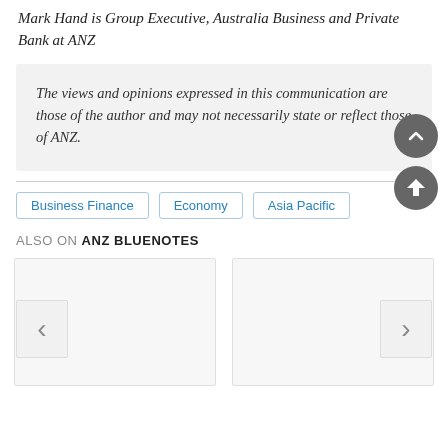Mark Hand is Group Executive, Australia Business and Private Bank at ANZ
The views and opinions expressed in this communication are those of the author and may not necessarily state or reflect those of ANZ.
Business Finance
Economy
Asia Pacific
ALSO ON ANZ BLUENOTES
[Figure (other): Two article card thumbnails with left and right navigation arrows, part of an 'Also on ANZ Bluenotes' carousel section]